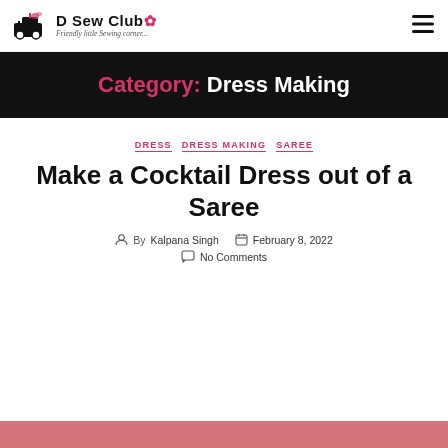D Sew Club — Friendly little Sewing corner...
Category: Dress Making
DRESS   DRESS MAKING   SAREE
Make a Cocktail Dress out of a Saree
By Kalpana Singh   February 8, 2022   No Comments